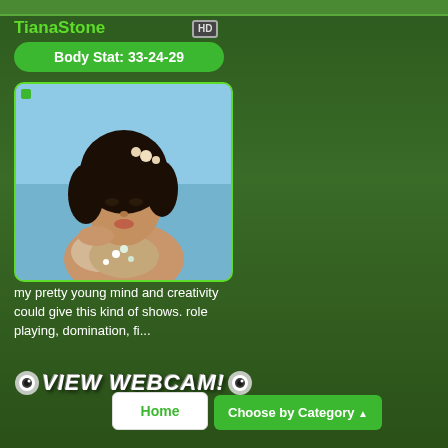TianaStone
Body Stat: 33-24-29
[Figure (photo): Young woman with dark curly hair wearing flowers, posing in water with floral decoration]
my pretty young mind and creativity could give this kind of shows. role playing, domination, fi...
VIEW WEBCAM!
Home
Choose by Category ▲